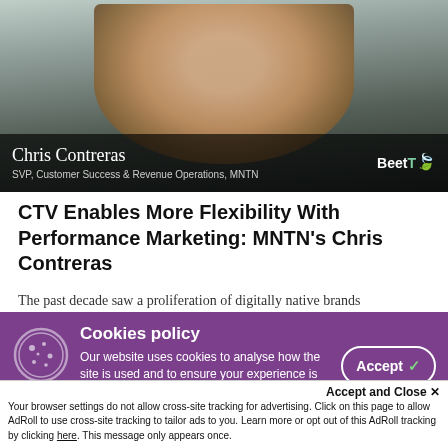[Figure (screenshot): Video thumbnail showing Chris Contreras, a man with a beard, smiling. Lower bar shows name 'Chris Contreras' and title 'SVP, Customer Success & Revenue Operations, MNTN' with BeetTV logo.]
CTV Enables More Flexibility With Performance Marketing: MNTN's Chris Contreras
The past decade saw a proliferation of digitally native brands
Cookies policy
Our website uses cookies to analyse how the site is used and to ensure your experience is
Accept and Close ✕
Your browser settings do not allow cross-site tracking for advertising. Click on this page to allow AdRoll to use cross-site tracking to tailor ads to you. Learn more or opt out of this AdRoll tracking by clicking here. This message only appears once.